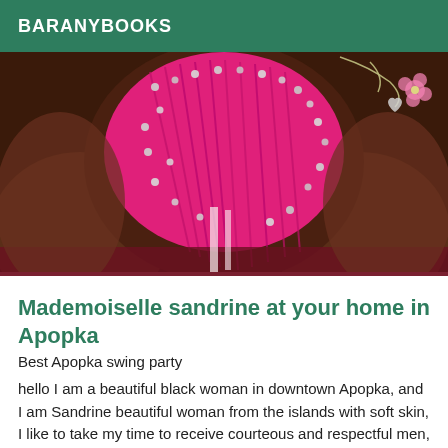BARANYBOOKS
[Figure (photo): Close-up photo of a person wearing a studded pink/magenta outfit with decorative jewelry accessories]
Mademoiselle sandrine at your home in Apopka
Best Apopka swing party
hello I am a beautiful black woman in downtown Apopka, and I am Sandrine beautiful woman from the islands with soft skin, I like to take my time to receive courteous and respectful men, I am welcoming and smiling, and I offer you an unforgettable moment in a pleasant setting with